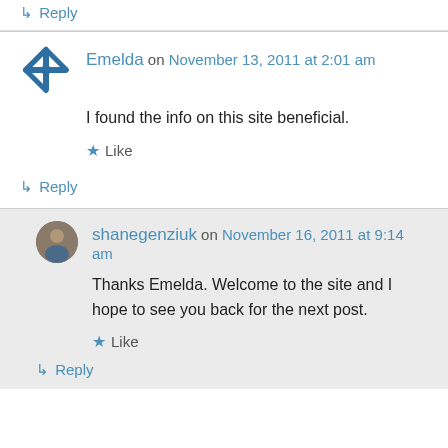↳ Reply
Emelda on November 13, 2011 at 2:01 am
I found the info on this site beneficial.
★ Like
↳ Reply
shanegenziuk on November 16, 2011 at 9:14 am
Thanks Emelda. Welcome to the site and I hope to see you back for the next post.
★ Like
↳ Reply